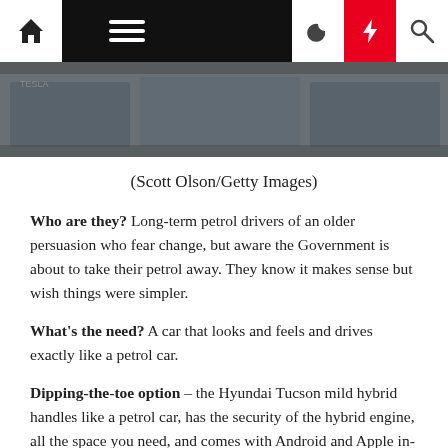[Figure (screenshot): Website navigation bar with home icon, hamburger menu on black background, moon icon, red lightning bolt icon, and search icon]
[Figure (photo): A partial photo showing a Tesla storefront with people visible, dark toned image]
(Scott Olson/Getty Images)
Who are they? Long-term petrol drivers of an older persuasion who fear change, but aware the Government is about to take their petrol away. They know it makes sense but wish things were simpler.
What's the need? A car that looks and feels and drives exactly like a petrol car.
Dipping-the-toe option – the Hyundai Tucson mild hybrid handles like a petrol car, has the security of the hybrid engine, all the space you need, and comes with Android and Apple in-car play. From £21,641